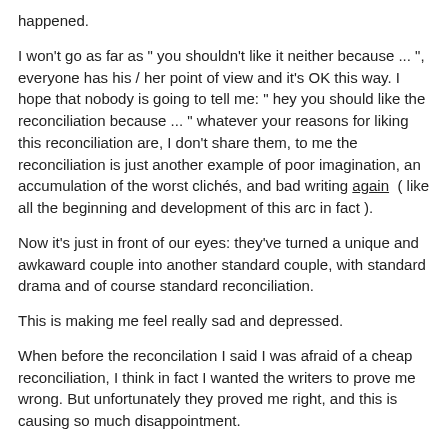happened.
I won't go as far as " you shouldn't like it neither because ... ", everyone has his / her point of view and it's OK this way. I hope that nobody is going to tell me: " hey you should like the reconciliation because ... " whatever your reasons for liking this reconciliation are, I don't share them, to me the reconciliation is just another example of poor imagination, an accumulation of the worst clichés, and bad writing again  ( like all the beginning and development of this arc in fact ).
Now it's just in front of our eyes: they've turned a unique and awkaward couple into another standard couple, with standard drama and of course standard reconciliation.
This is making me feel really sad and depressed.
When before the reconcilation I said I was afraid of a cheap reconciliation, I think in fact I wanted the writers to prove me wrong. But unfortunately they proved me right, and this is causing so much disappointment.
As for Amy's POV, even though I've always been on Sheldon's side since...